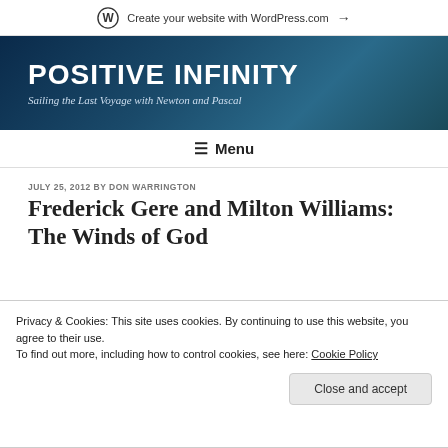Create your website with WordPress.com →
POSITIVE INFINITY
Sailing the Last Voyage with Newton and Pascal
≡ Menu
JULY 25, 2012 BY DON WARRINGTON
Frederick Gere and Milton Williams: The Winds of God
Privacy & Cookies: This site uses cookies. By continuing to use this website, you agree to their use.
To find out more, including how to control cookies, see here: Cookie Policy
Close and accept